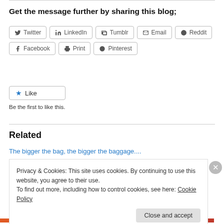Get the message further by sharing this blog;
[Figure (other): Row of social share buttons: Twitter, LinkedIn, Tumblr, Email, Reddit, Facebook, Print, Pinterest]
[Figure (other): Like button with star icon and text 'Be the first to like this.']
Related
The bigger the bag, the bigger the baggage....
Privacy & Cookies: This site uses cookies. By continuing to use this website, you agree to their use. To find out more, including how to control cookies, see here: Cookie Policy